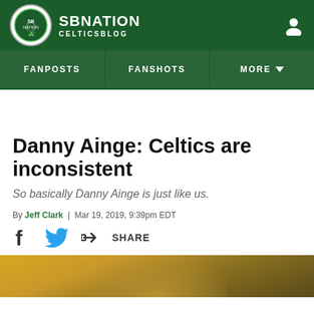SBNation CelticsBlog
Danny Ainge: Celtics are inconsistent
So basically Danny Ainge is just like us.
By Jeff Clark | Mar 19, 2019, 9:39pm EDT
[Figure (other): Social sharing icons: Facebook, Twitter, and Share button]
[Figure (photo): Photo strip at bottom of page showing partial image with yellow/gold tones]